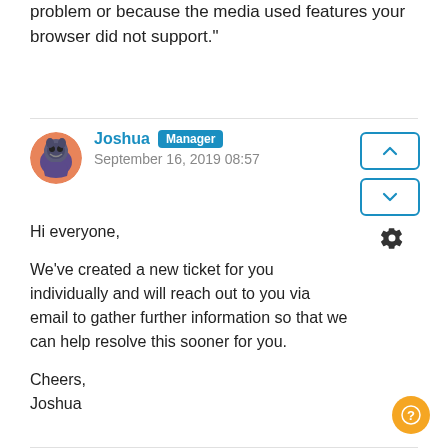problem or because the media used features your browser did not support."
Joshua Manager
September 16, 2019 08:57
Hi everyone,

We've created a new ticket for you individually and will reach out to you via email to gather further information so that we can help resolve this sooner for you.

Cheers,
Joshua